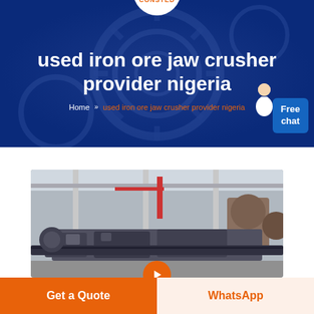[Figure (screenshot): Website header banner with dark blue background showing gear/industrial imagery watermark, logo circle at top center reading CONSTED in orange, main title text, breadcrumb navigation, agent character image, and Free chat button]
used iron ore jaw crusher provider nigeria
Home » used iron ore jaw crusher provider nigeria
[Figure (photo): Industrial factory floor showing heavy machinery, jaw crusher equipment, steel structures, large warehouse with overhead cranes and red industrial equipment in the background]
Get a Quote
WhatsApp